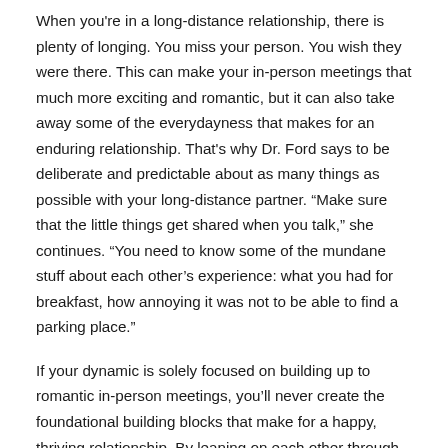When you're in a long-distance relationship, there is plenty of longing. You miss your person. You wish they were there. This can make your in-person meetings that much more exciting and romantic, but it can also take away some of the everydayness that makes for an enduring relationship. That's why Dr. Ford says to be deliberate and predictable about as many things as possible with your long-distance partner. “Make sure that the little things get shared when you talk,” she continues. “You need to know some of the mundane stuff about each other’s experience: what you had for breakfast, how annoying it was not to be able to find a parking place.”
If your dynamic is solely focused on building up to romantic in-person meetings, you’ll never create the foundational building blocks that make for a happy, thriving relationship. By leaning on each other through the in’s and out’s of lives, you strengthen your trust in one another and improve your partnership. During